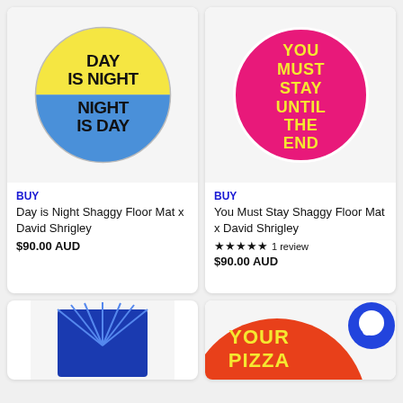[Figure (photo): Round shaggy floor mat with yellow top half and blue bottom half, black text reading DAY IS NIGHT NIGHT IS DAY]
BUY
Day is Night Shaggy Floor Mat x David Shrigley
$90.00 AUD
[Figure (photo): Round shaggy floor mat with hot pink background and yellow bubble text reading YOU MUST STAY UNTIL THE END]
BUY
You Must Stay Shaggy Floor Mat x David Shrigley
★★★★★ 1 review
$90.00 AUD
[Figure (photo): Partial view of blue rectangular item at bottom left]
[Figure (photo): Partial view of round floor mat with red/orange background, yellow text YOUR PIZZA visible, and blue circle chat icon in top right corner]